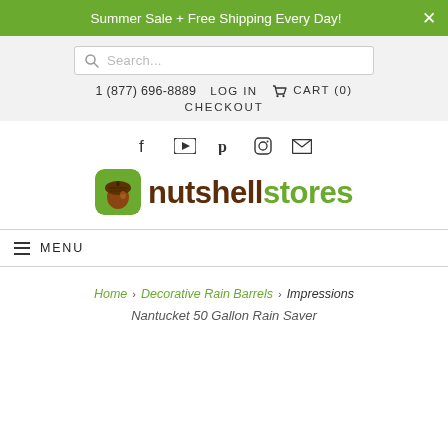Summer Sale + Free Shipping Every Day!
[Figure (screenshot): Search bar with magnifying glass icon and placeholder text 'Search...']
1 (877) 696-8889   LOG IN   CART (0)   CHECKOUT
[Figure (infographic): Social media icons: Facebook, YouTube, Pinterest, Instagram, Email]
[Figure (logo): Nutshell Stores logo with acorn icon, 'nutshell' in dark brown and 'stores' in green]
≡ MENU
Home > Decorative Rain Barrels > Impressions
Nantucket 50 Gallon Rain Saver